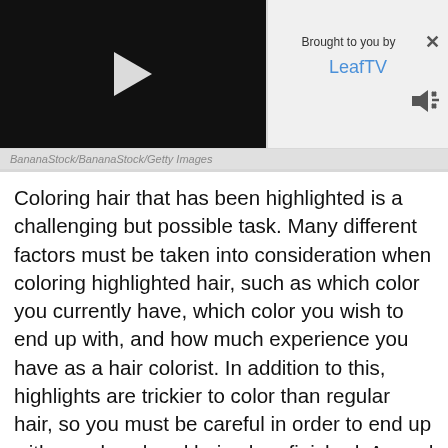[Figure (screenshot): Video player thumbnail with black background and white play button triangle in center]
Brought to you by LeafTV
BananaStock/BananaStock/Getty Images
Coloring hair that has been highlighted is a challenging but possible task. Many different factors must be taken into consideration when coloring highlighted hair, such as which color you currently have, which color you wish to end up with, and how much experience you have as a hair colorist. In addition to this, highlights are trickier to color than regular hair, so you must be careful in order to end up with evenly colored hair when finished. A good end result is possible, however, so long as you take your time and prepare everything in advance.